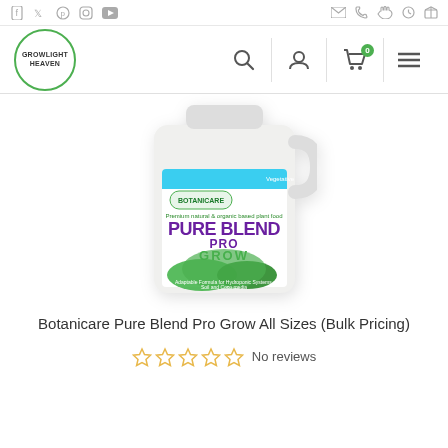Social media icons and navigation bar with Growlight Heaven logo, search, account, cart (0), and menu icons
[Figure (photo): Botanicare Pure Blend Pro Grow product bottle, white 5-gallon container with green and purple label]
Botanicare Pure Blend Pro Grow All Sizes (Bulk Pricing)
No reviews (5 empty stars rating)